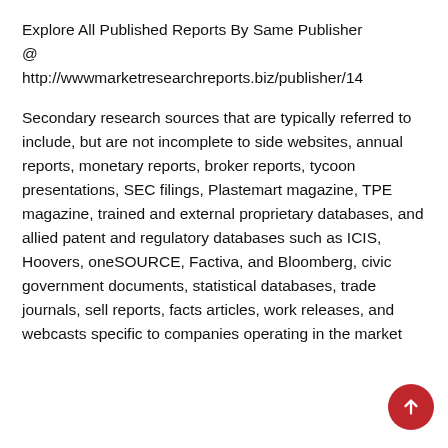Explore All Published Reports By Same Publisher @ http://wwwmarketresearchreports.biz/publisher/14
Secondary research sources that are typically referred to include, but are not incomplete to side websites, annual reports, monetary reports, broker reports, tycoon presentations, SEC filings, Plastemart magazine, TPE magazine, trained and external proprietary databases, and allied patent and regulatory databases such as ICIS, Hoovers, oneSOURCE, Factiva, and Bloomberg, civic government documents, statistical databases, trade journals, sell reports, facts articles, work releases, and webcasts specific to companies operating in the market